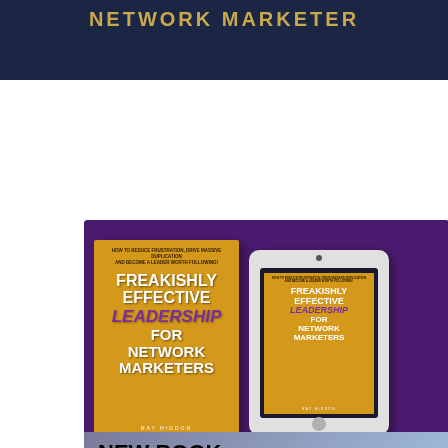NETWORK MARKETER
[Figure (illustration): Book advertisement showing physical book and tablet ebook of 'Freakishly Effective Leadership for Network Marketers' by Ray Higdon on a purple background, with bottom banner showing 'NEW BOOK Freakishly Effective Leadership for Network Marketers GET IT NOW']
NEW BOOK
Freakishly Effective Leadership for Network Marketers
GET IT NOW